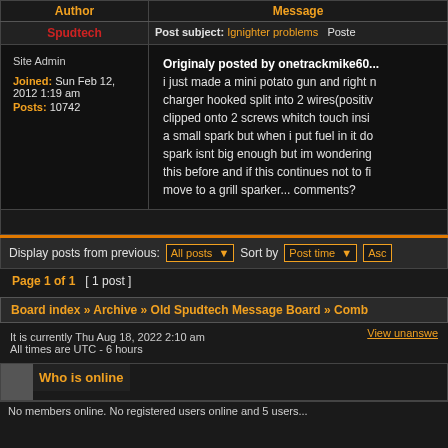| Author | Message |
| --- | --- |
| Spudtech | Post subject: Ignighter problems | Poste... |
| Site Admin
Joined: Sun Feb 12, 2012 1:19 am
Posts: 10742 | Originaly posted by onetrackmike60... i just made a mini potato gun and right ... charger hooked split into 2 wires(positiv... clipped onto 2 screws whitch touch insi... a small spark but when i put fuel in it do... spark isnt big enough but im wondering... this before and if this continues not to fi... move to a grill sparker... comments? |
Display posts from previous:  All posts  Sort by  Post time  Asc
Page 1 of 1   [ 1 post ]
Board index » Archive » Old Spudtech Message Board » Comb...
It is currently Thu Aug 18, 2022 2:10 am
All times are UTC - 6 hours
View unanswe...
Who is online
No members online. No registered users online and 5 users...